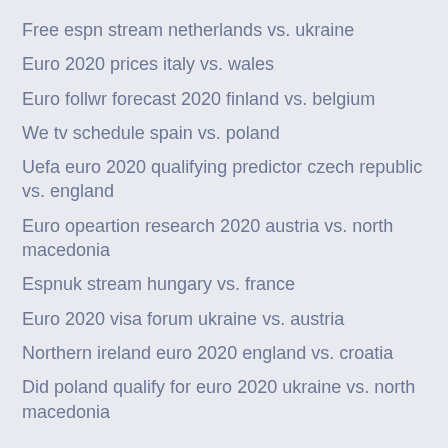Free espn stream netherlands vs. ukraine
Euro 2020 prices italy vs. wales
Euro follwr forecast 2020 finland vs. belgium
We tv schedule spain vs. poland
Uefa euro 2020 qualifying predictor czech republic vs. england
Euro opeartion research 2020 austria vs. north macedonia
Espnuk stream hungary vs. france
Euro 2020 visa forum ukraine vs. austria
Northern ireland euro 2020 england vs. croatia
Did poland qualify for euro 2020 ukraine vs. north macedonia